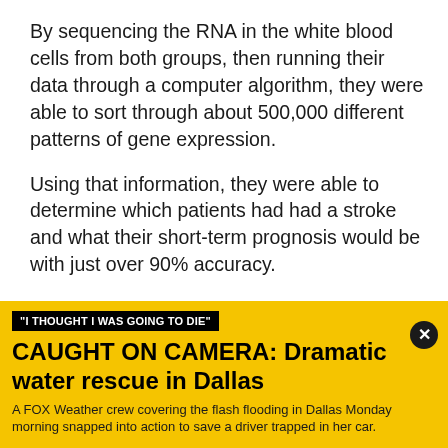By sequencing the RNA in the white blood cells from both groups, then running their data through a computer algorithm, they were able to sort through about 500,000 different patterns of gene expression.
Using that information, they were able to determine which patients had had a stroke and what their short-term prognosis would be with just over 90% accuracy.
"And with a half a million pieces of information, not rolling the dice, for 2 to 12, we can tell whether you've had a stroke," Simon says. "And, if you've had a stroke
"I THOUGHT I WAS GOING TO DIE"
CAUGHT ON CAMERA: Dramatic water rescue in Dallas
A FOX Weather crew covering the flash flooding in Dallas Monday morning snapped into action to save a driver trapped in her car.